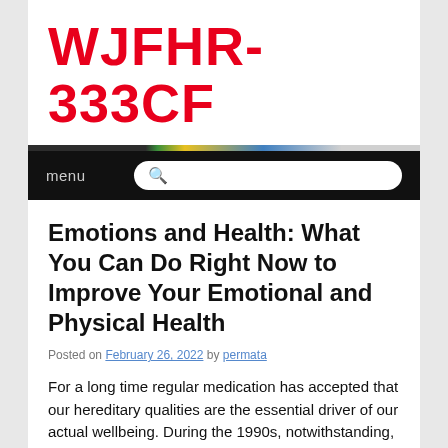WJFHR-333CF
menu [search bar]
Emotions and Health: What You Can Do Right Now to Improve Your Emotional and Physical Health
Posted on February 26, 2022 by permata
For a long time regular medication has accepted that our hereditary qualities are the essential driver of our actual wellbeing. During the 1990s, notwithstanding, logical